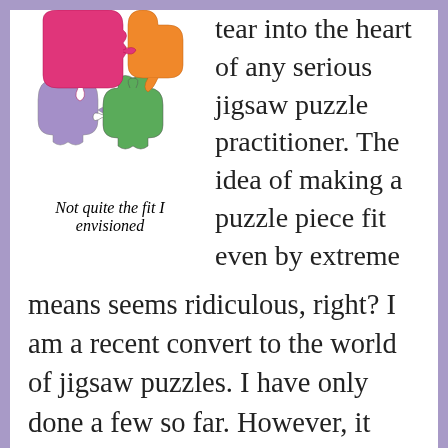[Figure (illustration): Colorful jigsaw puzzle pieces — pink/magenta, orange, green, and purple — grouped together on a white/light background.]
Not quite the fit I envisioned
tear into the heart of any serious jigsaw puzzle practitioner. The idea of making a puzzle piece fit even by extreme means seems ridiculous, right? I am a recent convert to the world of jigsaw puzzles. I have only done a few so far. However, it does not take long to feel the frustration level rise when pieces refuse to take residence on the board